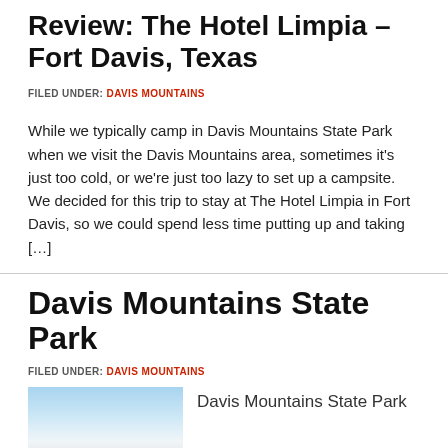Review: The Hotel Limpia – Fort Davis, Texas
FILED UNDER: DAVIS MOUNTAINS
While we typically camp in Davis Mountains State Park when we visit the Davis Mountains area, sometimes it's just too cold, or we're just too lazy to set up a campsite. We decided for this trip to stay at The Hotel Limpia in Fort Davis, so we could spend less time putting up and taking […]
Davis Mountains State Park
FILED UNDER: DAVIS MOUNTAINS
[Figure (photo): Photo of Davis Mountains State Park showing sky and landscape]
Davis Mountains State Park